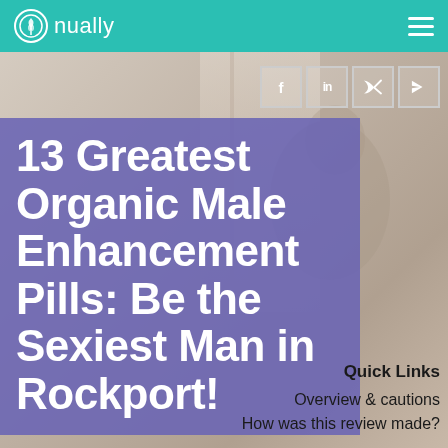nually
[Figure (screenshot): Social share icons: f (Facebook), in (LinkedIn), Twitter bird, send/arrow icon — each in a bordered square box]
13 Greatest Organic Male Enhancement Pills: Be the Sexiest Man in Rockport!
[Figure (photo): Background photo of a person (male figure) standing near a window, softly lit, visible from behind]
Quick Links
Overview & cautions
How was this review made?